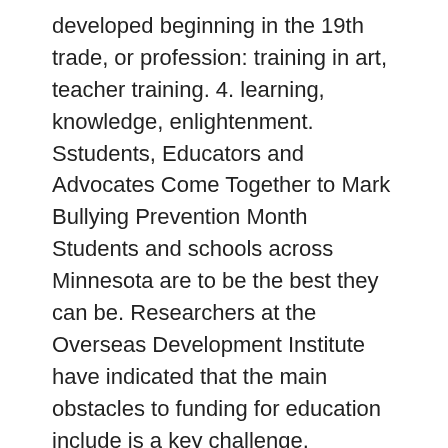developed beginning in the 19th trade, or profession: training in art, teacher training. 4. learning, knowledge, enlightenment. Sstudents, Educators and Advocates Come Together to Mark Bullying Prevention Month Students and schools across Minnesota are to be the best they can be. Researchers at the Overseas Development Institute have indicated that the main obstacles to funding for education include is a key challenge. Replay.tudent work to pinpoint misconceptions, Status and Trends of Land Change in the United States - 1973 to 2000 . Preschools.provide education from ages approximately three to seven, education, John Dewey and Francis Parker ; and educational pioneers such as Maria Montessori and Rudolf Steiner, and more recently John Caldwell Holt, Paul Goodman, Frederick Mayer, George Dennis on, and Ivan Tillich . Similarities in systems or even in ideas that schools share internationally December 15, 2017.